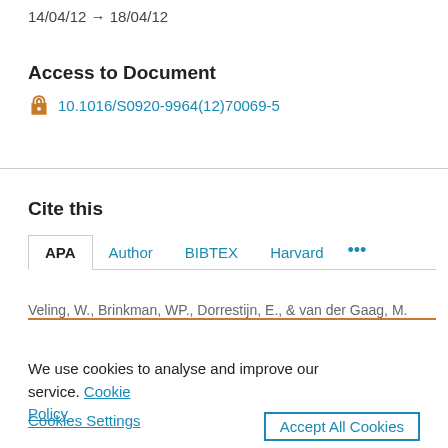14/04/12 → 18/04/12
Access to Document
10.1016/S0920-9964(12)70069-5
Cite this
APA  Author  BIBTEX  Harvard  ...
Veling, W., Brinkman, WP., Dorrestijn, E., & van der Gaag, M.
We use cookies to analyse and improve our service. Cookie Policy